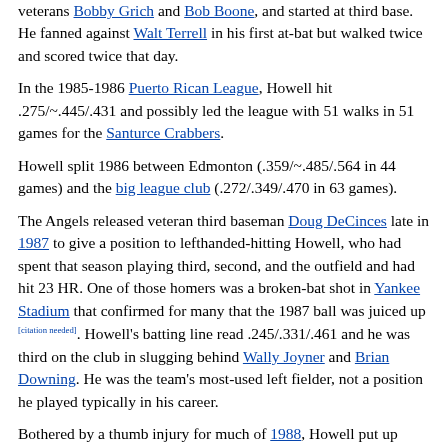veterans Bobby Grich and Bob Boone, and started at third base. He fanned against Walt Terrell in his first at-bat but walked twice and scored twice that day.
In the 1985-1986 Puerto Rican League, Howell hit .275/~.445/.431 and possibly led the league with 51 walks in 51 games for the Santurce Crabbers.
Howell split 1986 between Edmonton (.359/~.485/.564 in 44 games) and the big league club (.272/.349/.470 in 63 games).
The Angels released veteran third baseman Doug DeCinces late in 1987 to give a position to lefthanded-hitting Howell, who had spent that season playing third, second, and the outfield and had hit 23 HR. One of those homers was a broken-bat shot in Yankee Stadium that confirmed for many that the 1987 ball was juiced up [citation needed]. Howell's batting line read .245/.331/.461 and he was third on the club in slugging behind Wally Joyner and Brian Downing. He was the team's most-used left fielder, not a position he played typically in his career.
Bothered by a thumb injury for much of 1988, Howell put up okay numbers (.254/.323/.422, 32 2B, 16 HR, 63 RBI) and had a 110 OPS+, the same as in 1987. The big negative was 130 strikeouts, among the top 10 in the 1988 AL. He faded a bit in 1989, hitting .228/.308/.411 for a still-respectable 102 OPS+ with 20 homers. He